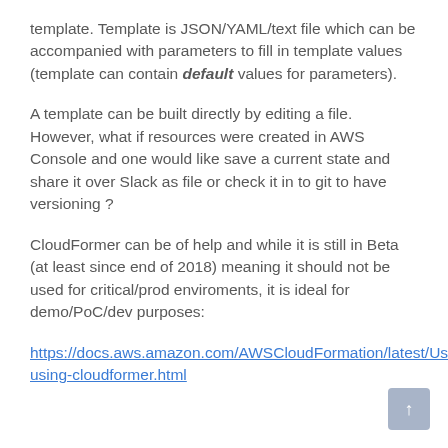template. Template is JSON/YAML/text file which can be accompanied with parameters to fill in template values (template can contain default values for parameters).
A template can be built directly by editing a file. However, what if resources were created in AWS Console and one would like save a current state and share it over Slack as file or check it in to git to have versioning ?
CloudFormer can be of help and while it is still in Beta (at least since end of 2018) meaning it should not be used for critical/prod enviroments, it is ideal for demo/PoC/dev purposes:
https://docs.aws.amazon.com/AWSCloudFormation/latest/UserGuide/cfn-using-cloudformer.html